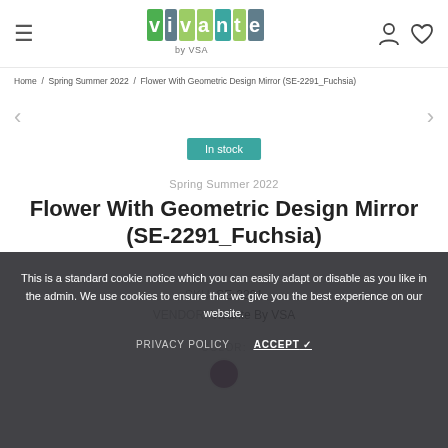Vivante by VSA — navigation header with hamburger menu and icons
Home / Spring Summer 2022 / Flower With Geometric Design Mirror (SE-2291_Fuchsia)
In stock
Spring Summer 2022
Flower With Geometric Design Mirror (SE-2291_Fuchsia)
SKU: SE-2291
VENDOR: Vivante By VSA
This is a standard cookie notice which you can easily adapt or disable as you like in the admin. We use cookies to ensure that we give you the best experience on our website.
PRIVACY POLICY   ACCEPT ✓
COLOR: